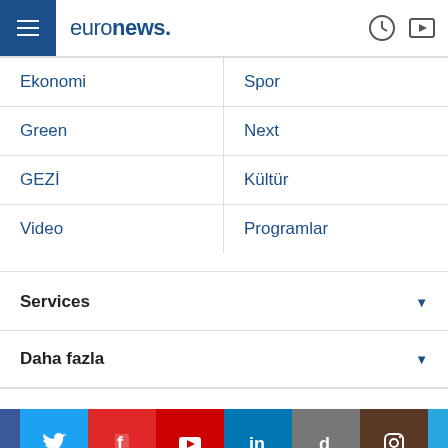euronews.
Ekonomi
Spor
Green
Next
GEZİ
Kültür
Video
Programlar
Services
Daha fazla
[Figure (infographic): Social media icon bar with Facebook, Twitter, Flipboard, YouTube, LinkedIn, Dailymotion, Instagram, Telegram icons]